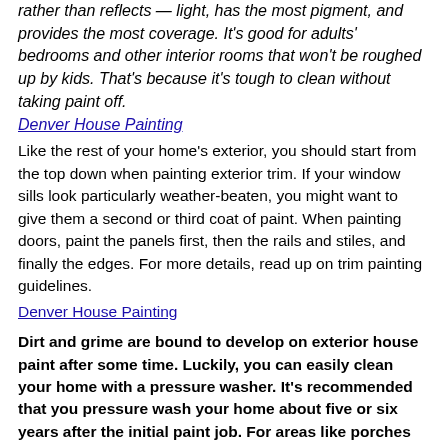rather than reflects — light, has the most pigment, and provides the most coverage. It's good for adults' bedrooms and other interior rooms that won't be roughed up by kids. That's because it's tough to clean without taking paint off.
Denver House Painting (link)
Like the rest of your home's exterior, you should start from the top down when painting exterior trim. If your window sills look particularly weather-beaten, you might want to give them a second or third coat of paint. When painting doors, paint the panels first, then the rails and stiles, and finally the edges. For more details, read up on trim painting guidelines.
Denver House Painting (link)
Dirt and grime are bound to develop on exterior house paint after some time. Luckily, you can easily clean your home with a pressure washer. It's recommended that you pressure wash your home about five or six years after the initial paint job. For areas like porches and overhangs, you should clean them more often. Taking a garden hose to these areas once a year should do the trick. Home Painters Denver CO (link)
Just what are the costs for two story house painting in Hanover, NH projects? Most homeowners will pay in the range of $372.80 to $590.36. Use this as a guideline when hiring a Hanover interior painting contractor, but keep in mind that the above estimate does not include certain costs.